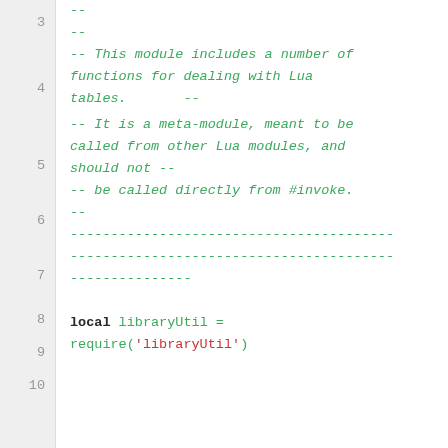3  --
   --
4  -- This module includes a number of functions for dealing with Lua tables.      --
5  -- It is a meta-module, meant to be called from other Lua modules, and should not --
6  -- be called directly from #invoke.
   --
7  -----------------------------------------------------------------------
8  
9  local libraryUtil = require('libraryUtil')
10